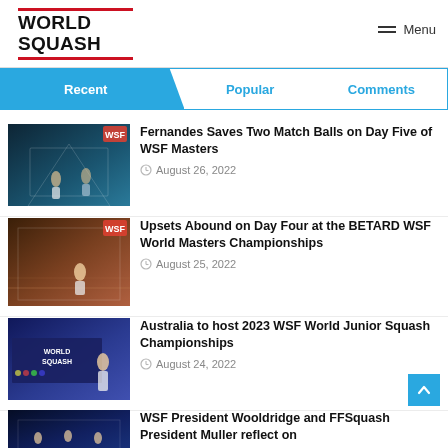WORLD SQUASH
Recent | Popular | Comments
[Figure (screenshot): Squash match photo — two players on blue-lit court]
Fernandes Saves Two Match Balls on Day Five of WSF Masters
August 26, 2022
[Figure (screenshot): Squash match photo — player on wooden-floor court]
Upsets Abound on Day Four at the BETARD WSF World Masters Championships
August 25, 2022
[Figure (screenshot): World Squash event photo — player in front of World Squash banner]
Australia to host 2023 WSF World Junior Squash Championships
August 24, 2022
[Figure (screenshot): Squash event photo — group on blue-lit court]
WSF President Wooldridge and FFSquash President Muller reflect on